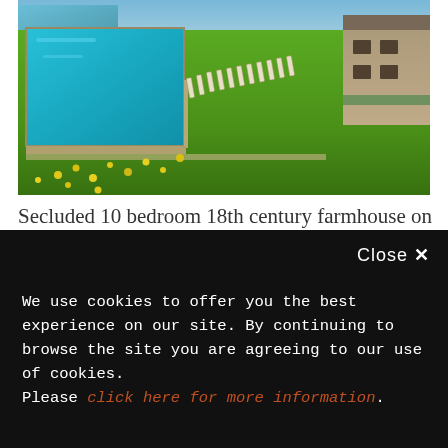[Figure (photo): Outdoor swimming pool with turquoise water, sun loungers on the deck, lush green grass with yellow wildflowers, and a stone farmhouse building on the right, with a lake visible in the background under a blue sky.]
Secluded 10 bedroom 18th century farmhouse on the banks of Lake Corbara in Italy.  Surrounded by water on three sides, 25 acres of landscaped grounds & a lakeside swimming pool.  Close to the town of
Close X
We use cookies to offer you the best experience on our site. By continuing to browse the site you are agreeing to our use of cookies.
Please click here for more information.